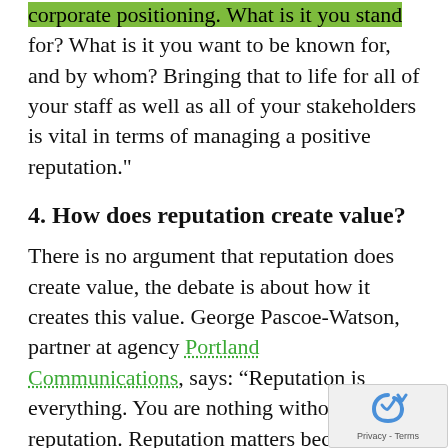corporate positioning. What is it you stand for? What is it you want to be known for, and by whom? Bringing that to life for all of your staff as well as all of your stakeholders is vital in terms of managing a positive reputation."
4. How does reputation create value?
There is no argument that reputation does create value, the debate is about how it creates this value. George Pascoe-Watson, partner at agency Portland Communications, says: “Reputation is everything. You are nothing without reputation. Reputation matters because without reputation you are prey to